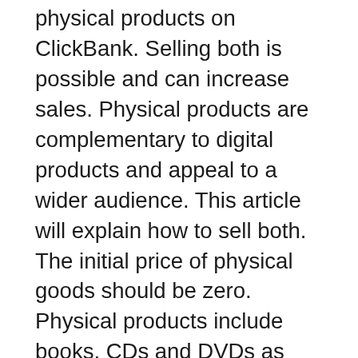physical products on ClickBank. Selling both is possible and can increase sales. Physical products are complementary to digital products and appeal to a wider audience. This article will explain how to sell both. The initial price of physical goods should be zero. Physical products include books, CDs and DVDs as well as other media. If you are selling physical goods, you should select a shipping profile corresponding to the currency of the product.
Signing up with ClickBank is free. Once you have done so, you can browse thousands of digital products and promote them on your website. The best part is, you can promote these products for free. Just make sure to choose products with good reviews and good